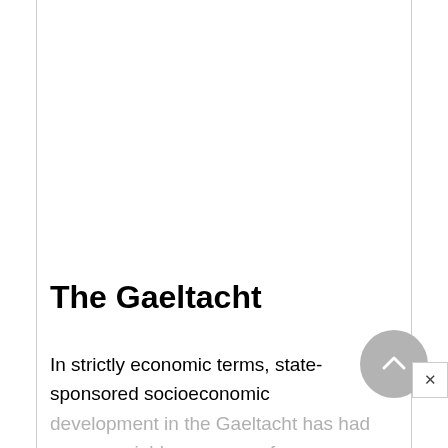The Gaeltacht
In strictly economic terms, state-sponsored socioeconomic development in the Gaeltacht has had an appreciable measure of success